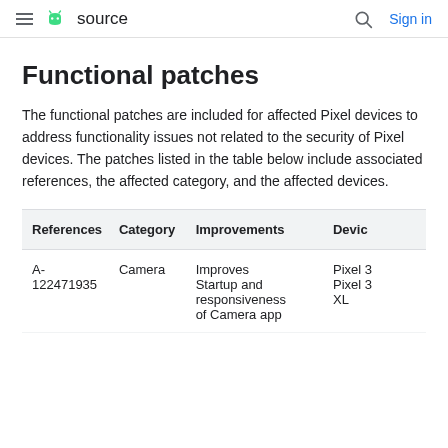≡  android source   🔍  Sign in
Functional patches
The functional patches are included for affected Pixel devices to address functionality issues not related to the security of Pixel devices. The patches listed in the table below include associated references, the affected category, and the affected devices.
| References | Category | Improvements | Devices |
| --- | --- | --- | --- |
| A-122471935 | Camera | Improves Startup and responsiveness of Camera app | Pixel 3, Pixel 3 XL |